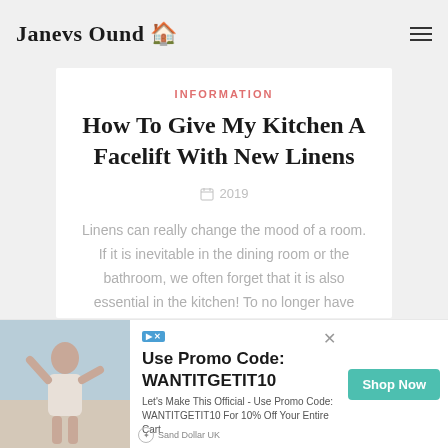Janevs Ound 🏠
INFORMATION
How To Give My Kitchen A Facelift With New Linens
2019
Linens can really change the mood of a room. If it is inevitable in the dining room or the bathroom, we often forget that it is also essential in the kitchen! To no longer have mismatched linens, to have easy access to them, and to warm your room, the editorial staff has found you clever decor ideas
[Figure (photo): Advertisement banner with woman photo, promo code WANTITGETIT10, Shop Now button, Sand Dollar UK branding]
Use Promo Code: WANTITGETIT10
Let's Make This Official - Use Promo Code: WANTITGETIT10 For 10% Off Your Entire Cart
Shop Now
Sand Dollar UK